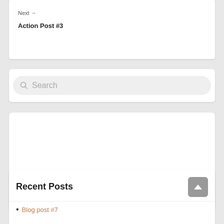Next →
Action Post #3
Search
[Figure (other): Loading spinner widget placeholder - circular dotted loading indicator]
Recent Posts
Blog post #7